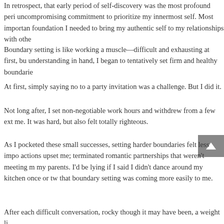In retrospect, that early period of self-discovery was the most profound peri... uncompromising commitment to prioritize my innermost self. Most importan... foundation I needed to bring my authentic self to my relationships with othe...
Boundary setting is like working a muscle—difficult and exhausting at first, bu... understanding in hand, I began to tentatively set firm and healthy boundarie...
At first, simply saying no to a party invitation was a challenge. But I did it.
Not long after, I set non-negotiable work hours and withdrew from a few ext... me. It was hard, but also felt totally righteous.
As I pocketed these small successes, setting harder boundaries felt less impo... actions upset me; terminated romantic partnerships that weren't meeting m... my parents. I'd be lying if I said I didn't dance around my kitchen once or tw... that boundary setting was coming more easily to me.
After each difficult conversation, rocky though it may have been, a weight li...